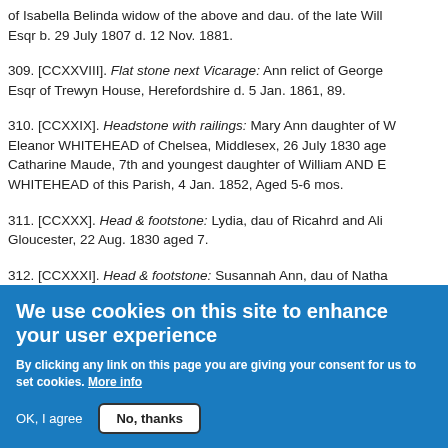of Isabella Belinda widow of the above and dau. of the late Will Esqr b. 29 July 1807 d. 12 Nov. 1881.
309. [CCXXVIII]. Flat stone next Vicarage: Ann relict of George Esqr of Trewyn House, Herefordshire d. 5 Jan. 1861, 89.
310. [CCXXIX]. Headstone with railings: Mary Ann daughter of W Eleanor WHITEHEAD of Chelsea, Middlesex, 26 July 1830 age Catharine Maude, 7th and youngest daughter of William AND E WHITEHEAD of this Parish, 4 Jan. 1852, Aged 5-6 mos.
311. [CCXXX]. Head & footstone: Lydia, dau of Ricahrd and Ali Gloucester, 22 Aug. 1830 aged 7.
312. [CCXXXI]. Head & footstone: Susannah Ann, dau of Natha
We use cookies on this site to enhance your user experience
By clicking any link on this page you are giving your consent for us to set cookies. More info
OK, I agree
No, thanks